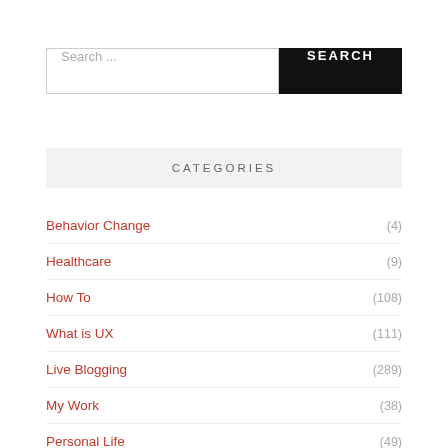Search ...
CATEGORIES
Behavior Change (4)
Healthcare (9)
How To (108)
What is UX (111)
Live Blogging (289)
My Work (38)
Personal Life (49)
Uncategorized (1)